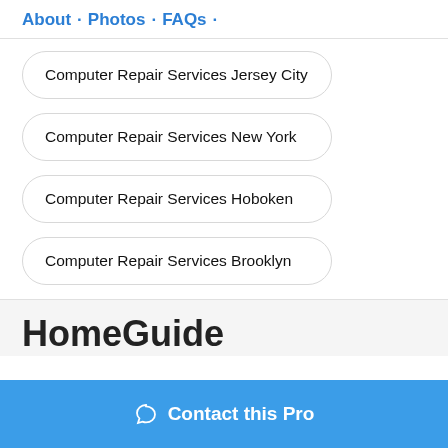About · Photos · FAQs ·
Computer Repair Services Jersey City
Computer Repair Services New York
Computer Repair Services Hoboken
Computer Repair Services Brooklyn
HomeGuide
Contact this Pro